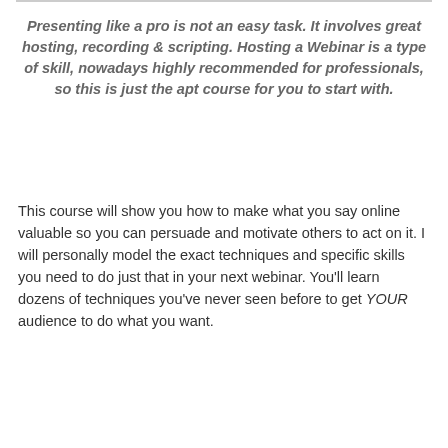Presenting like a pro is not an easy task. It involves great hosting, recording & scripting. Hosting a Webinar is a type of skill, nowadays highly recommended for professionals, so this is just the apt course for you to start with.
This course will show you how to make what you say online valuable so you can persuade and motivate others to act on it. I will personally model the exact techniques and specific skills you need to do just that in your next webinar. You'll learn dozens of techniques you've never seen before to get YOUR audience to do what you want.